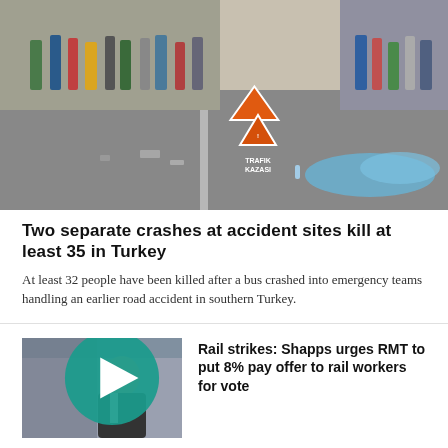[Figure (photo): Aerial/street view of a road accident scene in Turkey with emergency workers, scattered debris, orange traffic hazard sign reading TRAFIK KAZASI, and a covered body under a blue floral sheet]
Two separate crashes at accident sites kill at least 35 in Turkey
At least 32 people have been killed after a bus crashed into emergency teams handling an earlier road accident in southern Turkey.
[Figure (photo): Thumbnail photo of a man in a suit (Grant Shapps) with a play button overlay indicating video content]
Rail strikes: Shapps urges RMT to put 8% pay offer to rail workers for vote
[Figure (photo): Thumbnail photo of a building exterior with European Union flags]
British toddler killed by car while on Irish holiday